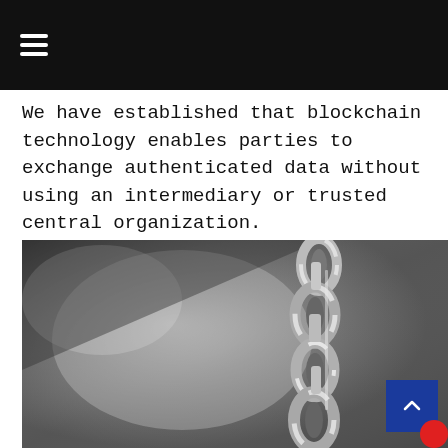≡
We have established that blockchain technology enables parties to exchange authenticated data without using an intermediary or trusted central organization.
[Figure (photo): Black and white close-up photograph of a metal chain against a blurred grey background]